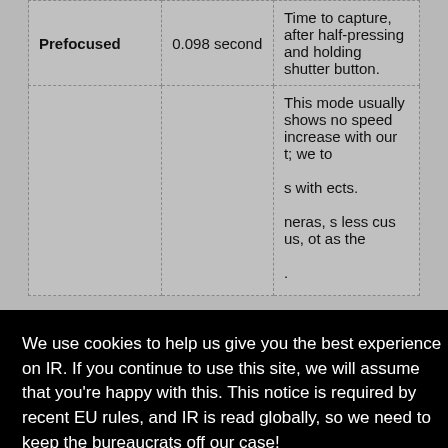|  |  |  |
| --- | --- | --- |
| Prefocused | 0.098 second | Time to capture, after half-pressing and holding shutter button. |
|  |  | This mode usually shows no speed increase with our t; we to |
|  |  | s with ects.
neras, s less cus us, ot as the
. |
We use cookies to help us give you the best experience on IR. If you continue to use this site, we will assume that you're happy with this. This notice is required by recent EU rules, and IR is read globally, so we need to keep the bureaucrats off our case!
Learn more
Got it!
Cycle time (shot to shot)